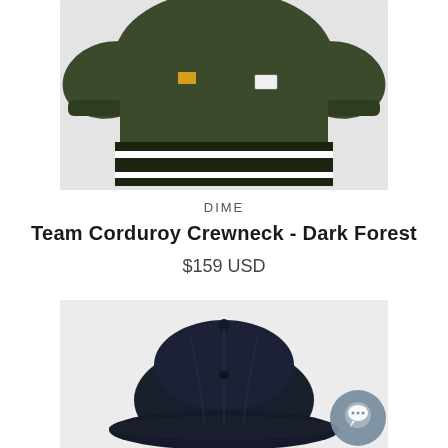[Figure (photo): Dark forest green corduroy crewneck sweatshirt with striped hem band, yellow logo tag on left chest, white label on right chest, on light gray background]
DIME
Team Corduroy Crewneck - Dark Forest
$159 USD
[Figure (photo): Dark navy blue corduroy baseball cap on light gray background, with a circular gray chat/messaging widget button overlaid in the bottom right corner]